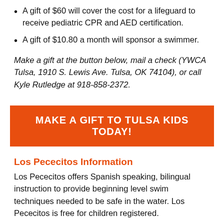A gift of $60 will cover the cost for a lifeguard to receive pediatric CPR and AED certification.
A gift of $10.80 a month will sponsor a swimmer.
Make a gift at the button below, mail a check (YWCA Tulsa, 1910 S. Lewis Ave. Tulsa, OK 74104), or call Kyle Rutledge at 918-858-2372.
MAKE A GIFT TO TULSA KIDS TODAY!
Los Pececitos Information
Los Pececitos offers Spanish speaking, bilingual instruction to provide beginning level swim techniques needed to be safe in the water. Los Pececitos is free for children registered.